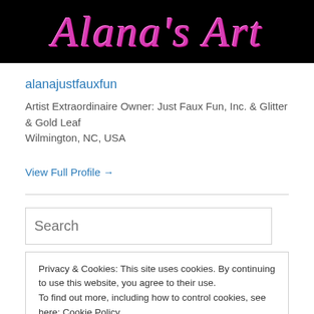[Figure (logo): Alana's Art logo in pink cursive script on black background]
alanajustfauxfun
Artist Extraordinaire Owner: Just Faux Fun, Inc. & Glitter & Gold Leaf
Wilmington, NC, USA
View Full Profile →
Search
Privacy & Cookies: This site uses cookies. By continuing to use this website, you agree to their use.
To find out more, including how to control cookies, see here: Cookie Policy
Close and accept
Custom North Carolina Faux Painting
Christmas Decorating Wilmington & Eastern North Carolina